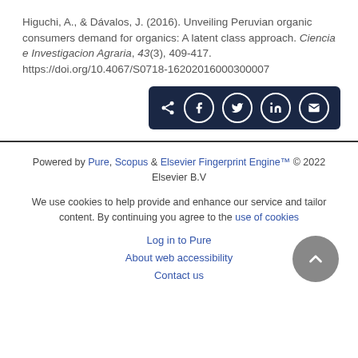Higuchi, A., & Dávalos, J. (2016). Unveiling Peruvian organic consumers demand for organics: A latent class approach. Ciencia e Investigacion Agraria, 43(3), 409-417. https://doi.org/10.4067/S0718-16202016000300007
[Figure (other): Share buttons row with icons for share, Facebook, Twitter, LinkedIn, and email on a dark navy background]
Powered by Pure, Scopus & Elsevier Fingerprint Engine™ © 2022 Elsevier B.V

We use cookies to help provide and enhance our service and tailor content. By continuing you agree to the use of cookies

Log in to Pure

About web accessibility

Contact us